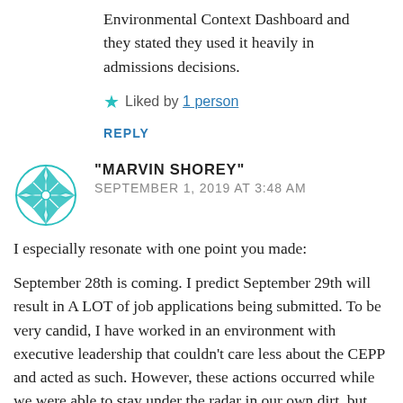Environmental Context Dashboard and they stated they used it heavily in admissions decisions.
Liked by 1 person
REPLY
"MARVIN SHOREY"
SEPTEMBER 1, 2019 AT 3:48 AM
I especially resonate with one point you made:
September 28th is coming. I predict September 29th will result in A LOT of job applications being submitted. To be very candid, I have worked in an environment with executive leadership that couldn’t care less about the CEPP and acted as such. However, these actions occurred while we were able to stay under the radar in our own dirt, but also remain protected from others doing the same thing to us. In an area with SEVERAL flagship